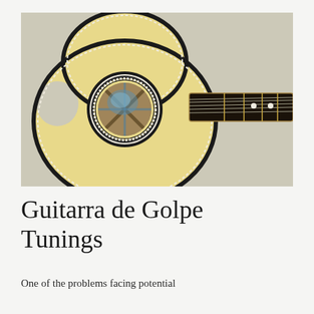[Figure (photo): Close-up photograph of a guitarra de golpe instrument showing the ornately decorated circular soundhole with white patterned rosette, the light spruce top, dark binding around the body edge, and the black fretboard extending to the right with visible fret markers.]
Guitarra de Golpe Tunings
One of the problems facing potential players of the guitarra de golpe is the lack